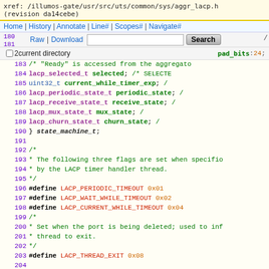xref: /illumos-gate/usr/src/uts/common/sys/aggr_lacp.h
(revision da14cebe)
Home | History | Annotate | Line# | Scopes# | Navigate#
180 Raw | Download [Search input] Search  /
181 /
2current directory   pad_bits : 24;
183   /* "Ready" is accessed from the aggregator
184   lacp_selected_t selected;   /* SELECTE
185   uint32_t   current_while_timer_exp; /
186   lacp_periodic_state_t   periodic_state; /
187   lacp_receive_state_t   receive_state; /
188   lacp_mux_state_t   mux_state; /
189   lacp_churn_state_t   churn_state; /
190 } state_machine_t;
191
192   /*
193   * The following three flags are set when specific
194   * by the LACP timer handler thread.
195   */
196 #define LACP_PERIODIC_TIMEOUT   0x01
197 #define LACP_WAIT_WHILE_TIMEOUT   0x02
198 #define LACP_CURRENT_WHILE_TIMEOUT   0x04
199   /*
200   * Set when the port is being deleted; used to inf
201   * thread to exit.
202   */
203 #define LACP_THREAD_EXIT   0x08
204
205   /*